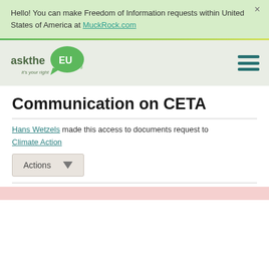Hello! You can make Freedom of Information requests within United States of America at MuckRock.com
[Figure (logo): AskTheEU logo — speech bubble with 'EU' text and 'askthe' and 'it's your right .org' text]
Communication on CETA
Hans Wetzels made this access to documents request to Climate Action
Actions